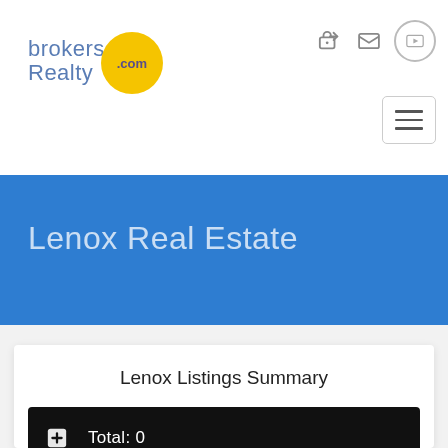[Figure (logo): brokersRealty.com logo with yellow circle and blue text]
Lenox Real Estate
Lenox Listings Summary
Total: 0
New: 0